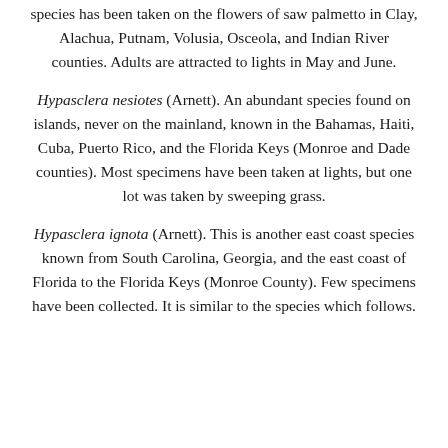species has been taken on the flowers of saw palmetto in Clay, Alachua, Putnam, Volusia, Osceola, and Indian River counties. Adults are attracted to lights in May and June.
Hypasclera nesiotes (Arnett). An abundant species found on islands, never on the mainland, known in the Bahamas, Haiti, Cuba, Puerto Rico, and the Florida Keys (Monroe and Dade counties). Most specimens have been taken at lights, but one lot was taken by sweeping grass.
Hypasclera ignota (Arnett). This is another east coast species known from South Carolina, Georgia, and the east coast of Florida to the Florida Keys (Monroe County). Few specimens have been collected. It is similar to the species which follows.